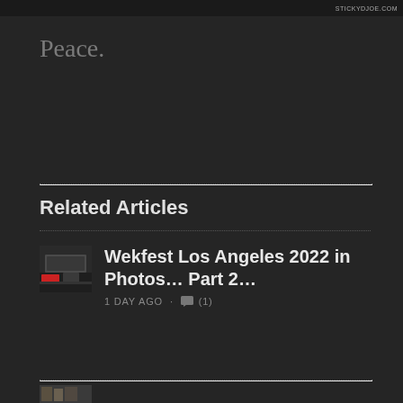[Figure (photo): Top banner image with STICKYDJOE.COM watermark in the top-right corner]
Peace.
Related Articles
[Figure (photo): Thumbnail image of cars at Wekfest Los Angeles 2022]
Wekfest Los Angeles 2022 in Photos… Part 2…
1 DAY AGO · (1)
[Figure (photo): Partial thumbnail of a second related article at the bottom]